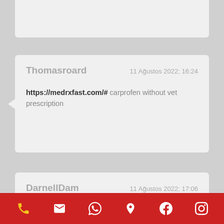Thomasroard — 11 Ağustos 2022; 16:24 — https://medrxfast.com/# carprofen without vet prescription
DarnellDam — 11 Ağustos 2022; 17:06 — prescription drugs online without doctor best canadian online pharmacy